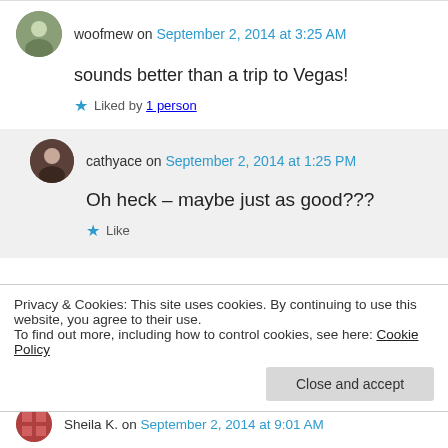woofmew on September 2, 2014 at 3:25 AM
sounds better than a trip to Vegas!
★ Liked by 1 person
cathyace on September 2, 2014 at 1:25 PM
Oh heck – maybe just as good???
★ Like
Privacy & Cookies: This site uses cookies. By continuing to use this website, you agree to their use.
To find out more, including how to control cookies, see here: Cookie Policy
Close and accept
Sheila K. on September 2, 2014 at 9:01 AM